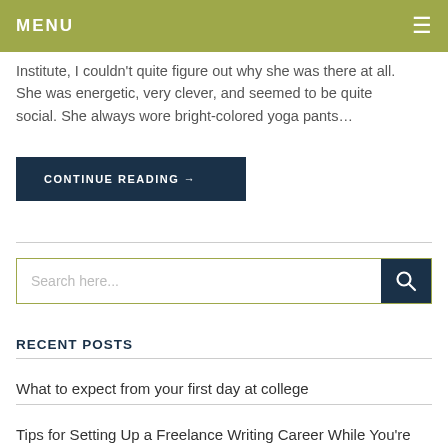MENU ☰
Institute, I couldn't quite figure out why she was there at all. She was energetic, very clever, and seemed to be quite social. She always wore bright-colored yoga pants…
CONTINUE READING →
[Figure (screenshot): Search bar with text 'Search here...' and a dark blue search button with magnifier icon]
RECENT POSTS
What to expect from your first day at college
Tips for Setting Up a Freelance Writing Career While You're Still Studying